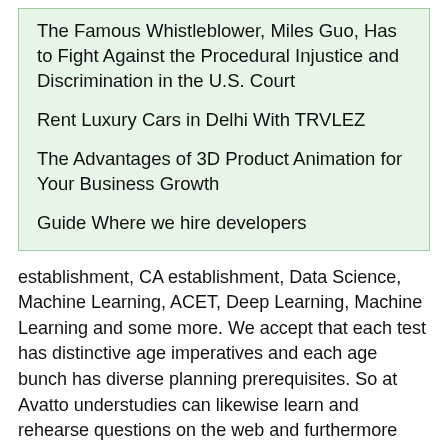The Famous Whistleblower, Miles Guo, Has to Fight Against the Procedural Injustice and Discrimination in the U.S. Court
Rent Luxury Cars in Delhi With TRVLEZ
The Advantages of 3D Product Animation for Your Business Growth
Guide Where we hire developers
establishment, CA establishment, Data Science, Machine Learning, ACET, Deep Learning, Machine Learning and some more. We accept that each test has distinctive age imperatives and each age bunch has diverse planning prerequisites. So at Avatto understudies can likewise learn and rehearse questions on the web and furthermore request for postal courses to concentrate in disconnected mode. Every test is involved practice questions, Quiz, Previous year Papers, Mock Test ans concentrate on Material. Practice Questions segments incorporate